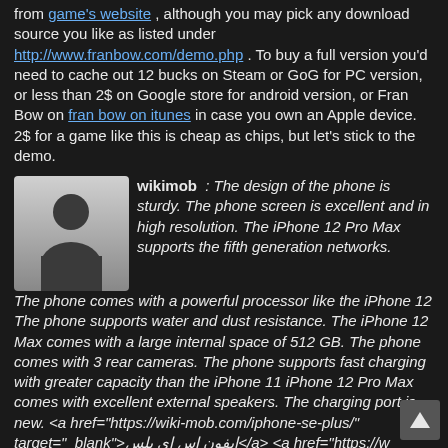from game's website, although you may pick any download source you like as listed under http://www.franbow.com/demo.php . To buy a full version you'd need to cache out 12 bucks on Steam or GoG for PC version, or less than 2$ on Google store for android version, or Fran Bow on fran bow on itunes in case you own an Apple device. 2$ for a game like this is cheap as chips, but let's stick to the demo.
[Figure (illustration): Default user avatar: a grey gradient square with a silhouette of a person (head and shoulders) in dark grey/black]
wikimob : The design of the phone is sturdy. The phone screen is excellent and in high resolution. The iPhone 12 Pro Max supports the fifth generation networks. The phone comes with a powerful processor like the iPhone 12 The phone supports water and dust resistance. The iPhone 12 Max comes with a large internal space of 512 GB. The phone comes with 3 rear cameras. The phone supports fast charging with greater capacity than the iPhone 11 iPhone 12 Pro Max comes with excellent external speakers. The charging port is new. <a href="https://wiki-mob.com/iphone-se-plus/" target="_blank">ايفون اس اي بلس</a> <a href="https://w mob.com/ipad-8/" target="_blank">ايباد 8</a> <a